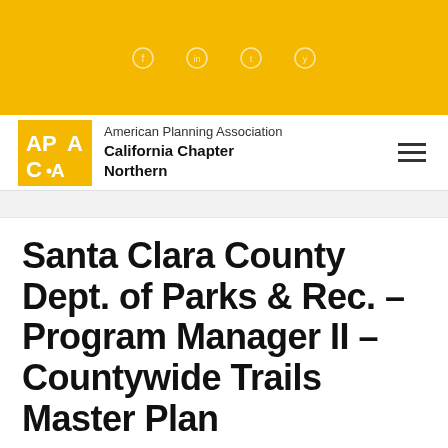[Figure (other): Golden/yellow top banner with four small circular icons (social media or navigation icons) centered in the banner]
American Planning Association California Chapter Northern
Santa Clara County Dept. of Parks & Rec. – Program Manager II – Countywide Trails Master Plan
If you are interested in joining a group of dedicated, collaborative, smart, passionate